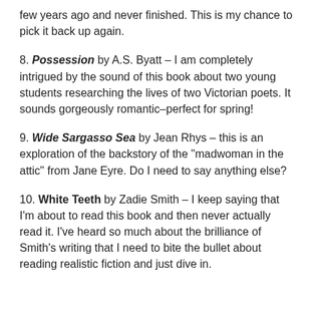few years ago and never finished. This is my chance to pick it back up again.
8. Possession by A.S. Byatt – I am completely intrigued by the sound of this book about two young students researching the lives of two Victorian poets. It sounds gorgeously romantic–perfect for spring!
9. Wide Sargasso Sea by Jean Rhys – this is an exploration of the backstory of the "madwoman in the attic" from Jane Eyre. Do I need to say anything else?
10. White Teeth by Zadie Smith – I keep saying that I'm about to read this book and then never actually read it. I've heard so much about the brilliance of Smith's writing that I need to bite the bullet about reading realistic fiction and just dive in.